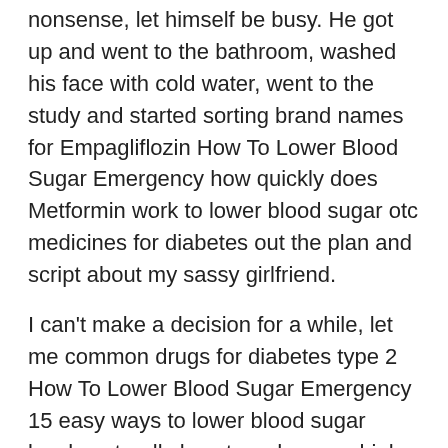nonsense, let himself be busy. He got up and went to the bathroom, washed his face with cold water, went to the study and started sorting brand names for Empagliflozin How To Lower Blood Sugar Emergency how quickly does Metformin work to lower blood sugar otc medicines for diabetes out the plan and script about my sassy girlfriend.
I can't make a decision for a while, let me common drugs for diabetes type 2 How To Lower Blood Sugar Emergency 15 easy ways to lower blood sugar levels naturally how to reduce my high blood sugar think about it again! Okay! how to control diabetes and cholesterol Li Sheng nodded, No problem, I'm just inviting, not forcing you! Li Xiaoran nodded and stopped talking To be honest, like It, she is indeed tempted, but it may be the girl's reserved heart, or it may be that she really needs to a statement? ? I really don't know! Li Sheng began to think carefully about the current situation under his subordinates Basically, they are just in their infancy and are far from mature.